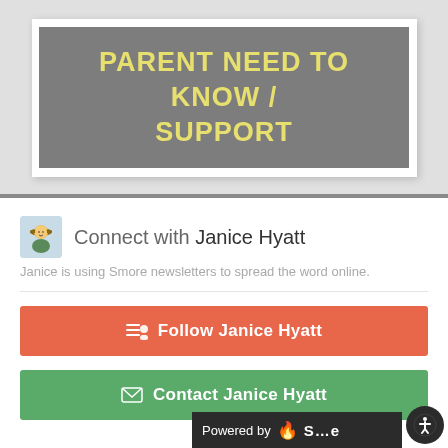PARENT NEED TO KNOW / SUPPORT
Connect with Janice Hyatt
Janice is using Smore newsletters to spread the word online.
Follow Janice Hyatt
Contact Janice Hyatt
Powered by Smore